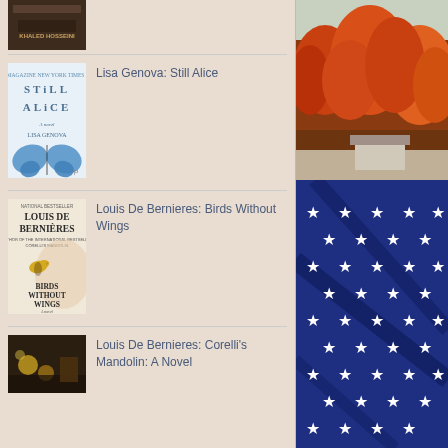[Figure (photo): Partial book cover - Khaled Hosseini book, dark cover]
[Figure (photo): Book cover - Still Alice by Lisa Genova, blue butterfly on white cover]
Lisa Genova: Still Alice
[Figure (photo): Book cover - Birds Without Wings by Louis De Bernieres, bird and woman]
Louis De Bernieres: Birds Without Wings
[Figure (photo): Book cover - Corelli's Mandolin by Louis De Bernieres, dark still life]
Louis De Bernieres: Corelli's Mandolin: A Novel
[Figure (photo): Autumn trees with orange/red foliage]
[Figure (photo): American flag close-up with white stars on dark blue fabric]